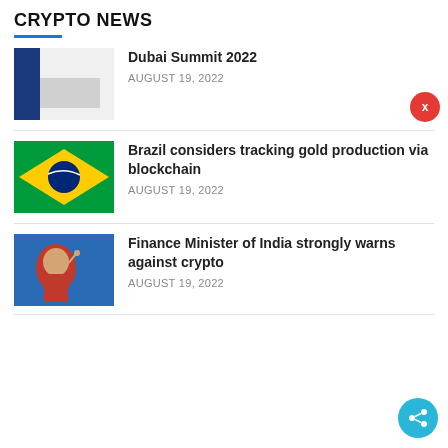CRYPTO NEWS
Dubai Summit 2022
AUGUST 19, 2022
Brazil considers tracking gold production via blockchain
AUGUST 19, 2022
Finance Minister of India strongly warns against crypto
AUGUST 19, 2022